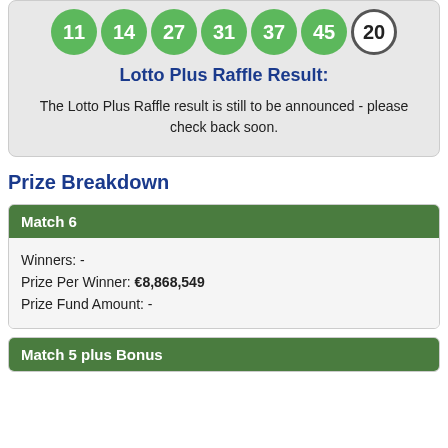[Figure (infographic): Lottery balls showing numbers 11, 14, 27, 31, 37, 45 (green) and bonus ball 20 (white/black outlined)]
Lotto Plus Raffle Result:
The Lotto Plus Raffle result is still to be announced - please check back soon.
Prize Breakdown
| Match 6 |
| --- |
| Winners: - |
| Prize Per Winner: €8,868,549 |
| Prize Fund Amount: - |
| Match 5 plus Bonus |
| --- |